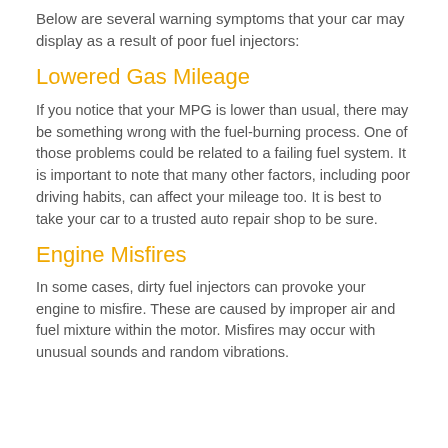Below are several warning symptoms that your car may display as a result of poor fuel injectors:
Lowered Gas Mileage
If you notice that your MPG is lower than usual, there may be something wrong with the fuel-burning process. One of those problems could be related to a failing fuel system. It is important to note that many other factors, including poor driving habits, can affect your mileage too. It is best to take your car to a trusted auto repair shop to be sure.
Engine Misfires
In some cases, dirty fuel injectors can provoke your engine to misfire. These are caused by improper air and fuel mixture within the motor. Misfires may occur with unusual sounds and random vibrations.